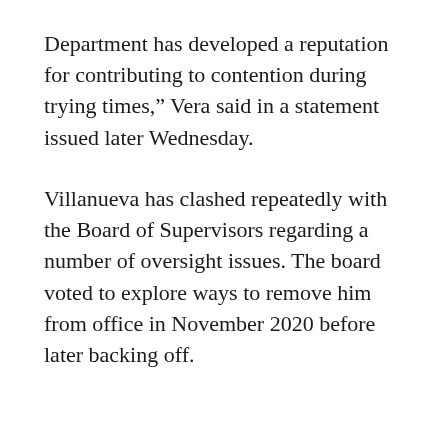Department has developed a reputation for contributing to contention during trying times,” Vera said in a statement issued later Wednesday.
Villanueva has clashed repeatedly with the Board of Supervisors regarding a number of oversight issues. The board voted to explore ways to remove him from office in November 2020 before later backing off.